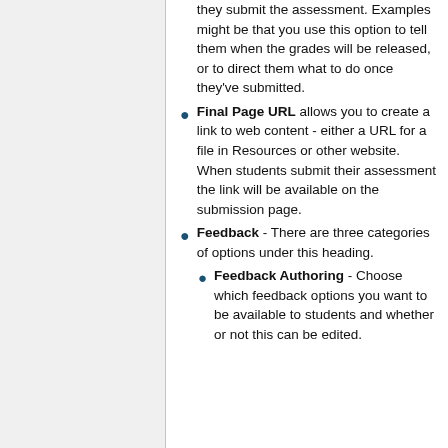they submit the assessment. Examples might be that you use this option to tell them when the grades will be released, or to direct them what to do once they've submitted.
Final Page URL allows you to create a link to web content - either a URL for a file in Resources or other website. When students submit their assessment the link will be available on the submission page.
Feedback - There are three categories of options under this heading.
Feedback Authoring - Choose which feedback options you want to be available to students and whether or not this can be edited.